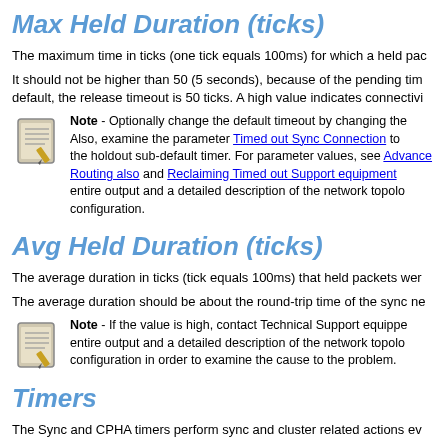Max Held Duration (ticks)
The maximum time in ticks (one tick equals 100ms) for which a held pac…
It should not be higher than 50 (5 seconds), because of the pending tim… default, the release timeout is 50 ticks. A high value indicates connectivi…
Note - Optionally change the default timeout by changing the… Also, examine the parameter Timed out Sync Connection to… the holdout sub-default timer. For parameter values, see Advanced… Routing also and Reclaiming Timed out Support equipment… entire output and a detailed description of the network topolo… configuration.
Avg Held Duration (ticks)
The average duration in ticks (tick equals 100ms) that held packets wer…
The average duration should be about the round-trip time of the sync ne…
Note - If the value is high, contact Technical Support equippe… entire output and a detailed description of the network topolo… configuration in order to examine the cause to the problem.
Timers
The Sync and CPHA timers perform sync and cluster related actions ev…